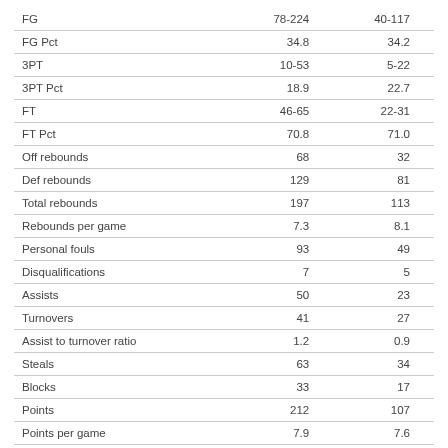|  | Col1 | Col2 |
| --- | --- | --- |
| FG | 78-224 | 40-117 |
| FG Pct | 34.8 | 34.2 |
| 3PT | 10-53 | 5-22 |
| 3PT Pct | 18.9 | 22.7 |
| FT | 46-65 | 22-31 |
| FT Pct | 70.8 | 71.0 |
| Off rebounds | 68 | 32 |
| Def rebounds | 129 | 81 |
| Total rebounds | 197 | 113 |
| Rebounds per game | 7.3 | 8.1 |
| Personal fouls | 93 | 49 |
| Disqualifications | 7 | 5 |
| Assists | 50 | 23 |
| Turnovers | 41 | 27 |
| Assist to turnover ratio | 1.2 | 0.9 |
| Steals | 63 | 34 |
| Blocks | 33 | 17 |
| Points | 212 | 107 |
| Points per game | 7.9 | 7.6 |